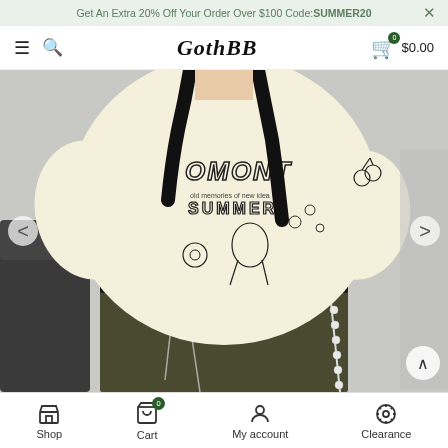Get An Extra 20% Off Your Order Over $100 Code: SUMMER20
GothBB  $0.00
[Figure (photo): Woman wearing a cream/beige oversized graphic t-shirt with 'OMONT SUMMER' print and cartoon line drawings, paired with dark olive cargo pants and a black studded belt with chain accessories. Navigation arrows on left and right sides.]
Shop  Cart  My account  Clearance